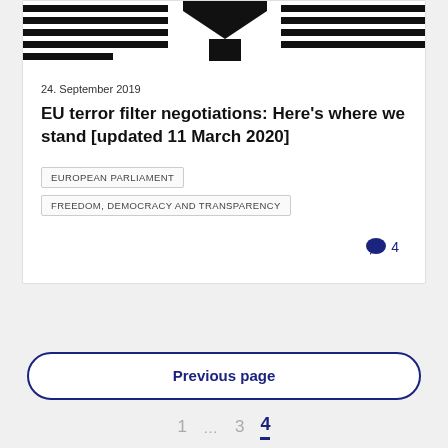[Figure (illustration): Stylized graphic with horizontal black lines and a central angular shape resembling a logo or banner image for an article card]
24. September 2019
EU terror filter negotiations: Here's where we stand [updated 11 March 2020]
EUROPEAN PARLIAMENT
FREEDOM, DEMOCRACY AND TRANSPARENCY
4
Previous page
1 … 3 4